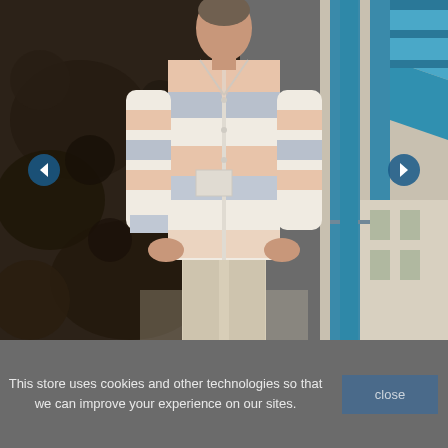[Figure (photo): A man wearing a striped button-up shirt with horizontal bands of cream, peach/salmon, and light blue/grey colors, paired with khaki/beige trousers. He stands with hands in pockets against a dark rocky background on the left and a bright blue architectural structure on the right. Two circular navigation arrows (left and right) are overlaid on the image.]
This store uses cookies and other technologies so that we can improve your experience on our sites.